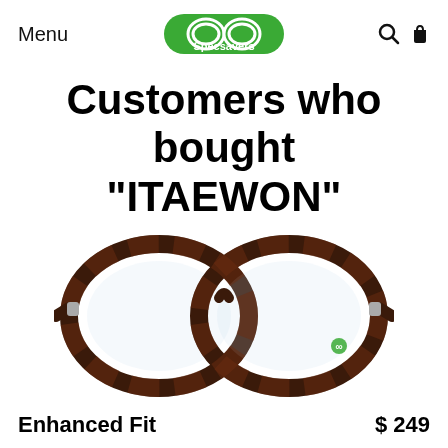Menu  Specsavers  🔍 🛍
Customers who bought "ITAEWON"
[Figure (photo): Tortoiseshell brown round glasses frames (ITAEWON model) from Specsavers, product photo on white background]
Enhanced Fit   $ 249